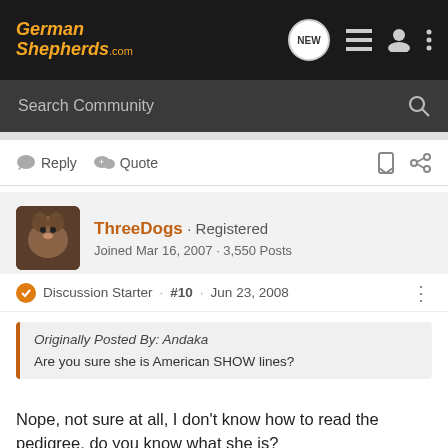GermanShepherds.com
Search Community
Reply  Quote
ThreeDogs · Registered
Joined Mar 16, 2007 · 3,550 Posts
Discussion Starter · #10 · Jun 23, 2008
Originally Posted By: Andaka

Are you sure she is American SHOW lines?
Nope, not sure at all, I don't know how to read the pedigree, do you know what she is?